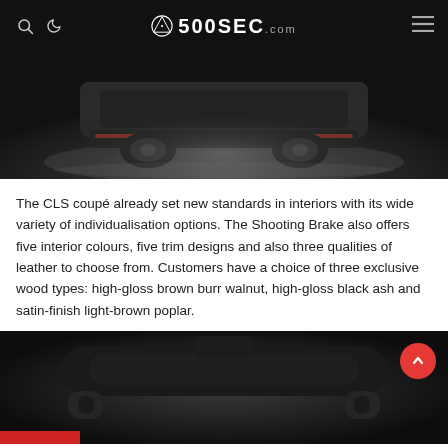500SEC.com
[Figure (photo): Dark moody photograph of the rear underside of a Mercedes CLS Shooting Brake on a dark ground with dramatic lighting]
The CLS coupé already set new standards in interiors with its wide variety of individualisation options. The Shooting Brake also offers five interior colours, five trim designs and also three qualities of leather to choose from. Customers have a choice of three exclusive wood types: high-gloss brown burr walnut, high-gloss black ash and satin-finish light-brown poplar.
[Figure (photo): Dark interior photograph of the Mercedes CLS Shooting Brake roof/ceiling area]